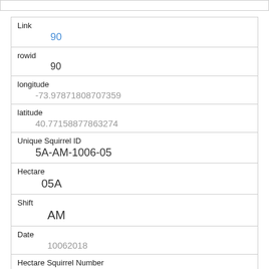| Field | Value |
| --- | --- |
| Link | 90 |
| rowid | 90 |
| longitude | -73.97871808707359 |
| latitude | 40.77158778863274 |
| Unique Squirrel ID | 5A-AM-1006-05 |
| Hectare | 05A |
| Shift | AM |
| Date | 10062018 |
| Hectare Squirrel Number | 5 |
| Age |  |